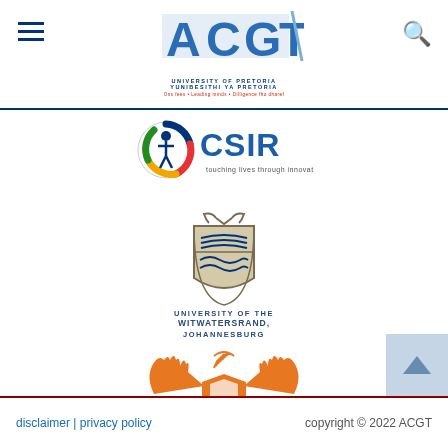ACGT — University of Pretoria / YUNIBESITHI YA PRETORIA header with navigation
[Figure (logo): ACGT logo — stylized blue lettering with geometric shapes]
[Figure (logo): CSIR logo — circular emblem with text 'touching lives through innovation']
[Figure (logo): University of the Witwatersrand, Johannesburg — coat of arms shield with springbok, text below]
[Figure (logo): University of Johannesburg — orange phoenix/bird logo with text UNIVERSITY OF JOHANNESBURG]
disclaimer | privacy policy                    copyright © 2022 ACGT